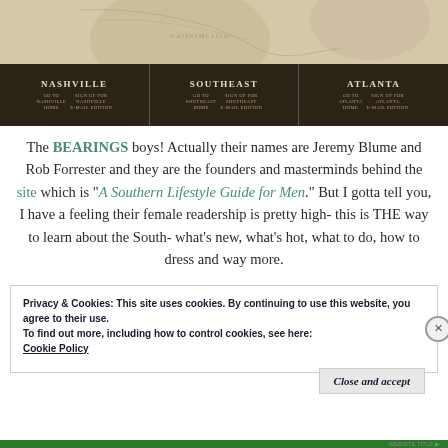[Figure (screenshot): Partial screenshot of Bearings website navigation bar showing Nashville, Southeast, and Atlanta sections with links, overlaid on a vintage map background]
The BEARINGS boys! Actually their names are Jeremy Blume and Rob Forrester and they are the founders and masterminds behind the site which is "A Southern Lifestyle Guide for Men." But I gotta tell you, I have a feeling their female readership is pretty high- this is THE way to learn about the South- what's new, what's hot, what to do, how to dress and way more.
Privacy & Cookies: This site uses cookies. By continuing to use this website, you agree to their use. To find out more, including how to control cookies, see here: Cookie Policy
Close and accept